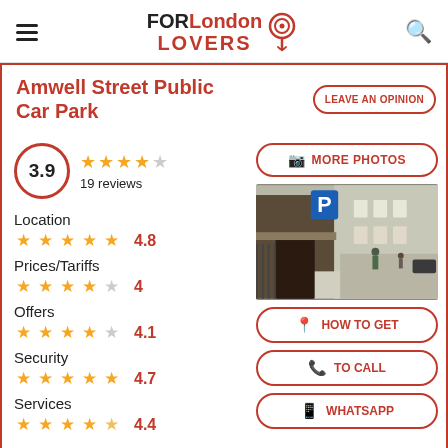FORLondon LOVERS
Amwell Street Public Car Park
LEAVE AN OPINION
3.9 — 19 reviews
Location 4.8
Prices/Tariffs 4
Offers 4.1
Security 4.7
Services 4.4
[Figure (photo): Exterior photo of Amwell Street Public Car Park showing entrance with blue P parking sign and street view]
MORE PHOTOS
HOW TO GET
TO CALL
WHATSAPP